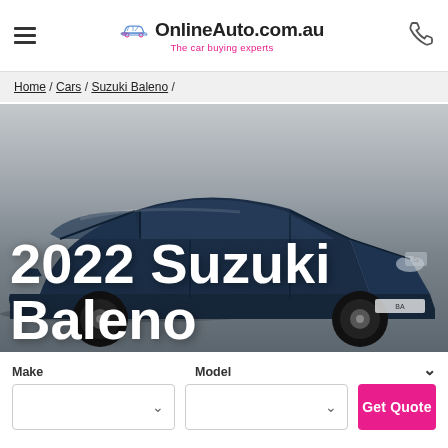OnlineAuto.com.au — The car buying experts
Home / Cars / Suzuki Baleno /
[Figure (photo): 2022 Suzuki Baleno dark blue car photographed from front-left angle on a grey background, with large white bold text overlay reading '2022 Suzuki Baleno']
2022 Suzuki Baleno
Make   Model   [Get Quote button]